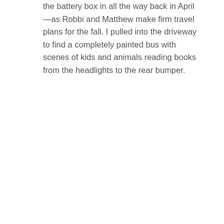the battery box in all the way back in April—as Robbi and Matthew make firm travel plans for the fall. I pulled into the driveway to find a completely painted bus with scenes of kids and animals reading books from the headlights to the rear bumper.